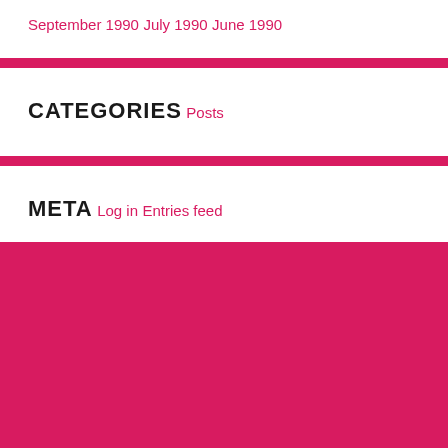September 1990
July 1990
June 1990
CATEGORIES
Posts
META
Log in
Entries feed